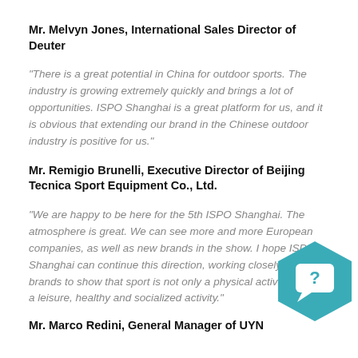Mr. Melvyn Jones, International Sales Director of Deuter
"There is a great potential in China for outdoor sports. The industry is growing extremely quickly and brings a lot of opportunities. ISPO Shanghai is a great platform for us, and it is obvious that extending our brand in the Chinese outdoor industry is positive for us."
Mr. Remigio Brunelli, Executive Director of Beijing Tecnica Sport Equipment Co., Ltd.
"We are happy to be here for the 5th ISPO Shanghai. The atmosphere is great. We can see more and more European companies, as well as new brands in the show. I hope ISPO Shanghai can continue this direction, working closely with brands to show that sport is not only a physical activity but also a leisure, healthy and socialized activity."
Mr. Marco Redini, General Manager of UYN
[Figure (illustration): Teal hexagon shape with a white chat/question mark bubble icon inside]